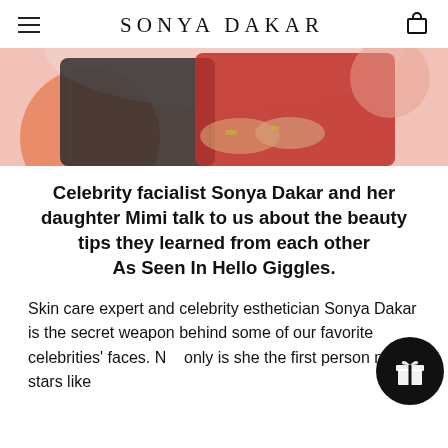SONYA DAKAR
[Figure (photo): Two women seated together. One wearing black lace, one wearing red, with pink and orange background elements.]
Celebrity facialist Sonya Dakar and her daughter Mimi talk to us about the beauty tips they learned from each other
As Seen In Hello Giggles.
Skin care expert and celebrity esthetician Sonya Dakar is the secret weapon behind some of our favorite celebrities' faces. Not only is she the first person many stars like